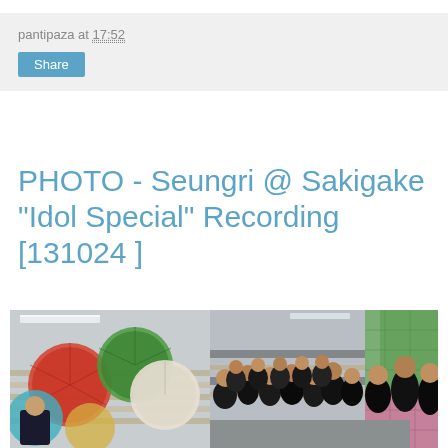pantipaza at 17:52
Share
PHOTO - Seungri @ Sakigake "Idol Special" Recording [131024 ]
[Figure (photo): Group photo at Sakigake Idol Special recording. Left side shows colorful Japanese paper umbrellas (wagasa) in red, orange, green, white colors mounted on a gray wall. A person in dark suit sits at lower left. Right side shows a large group of young women in black outfits sitting/standing, with a colorful tiled wall (green and pink) visible in background.]